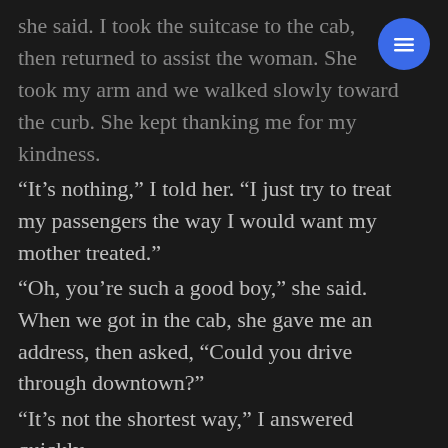she said. I took the suitcase to the cab, then returned to assist the woman. She took my arm and we walked slowly toward the curb. She kept thanking me for my kindness.
“It’s nothing,” I told her. “I just try to treat my passengers the way I would want my mother treated.”
“Oh, you’re such a good boy,” she said. When we got in the cab, she gave me an address, then asked, “Could you drive through downtown?”
“It’s not the shortest way,” I answered quickly.
“Oh, I don’t mind,” she said. “I’m in no hurry…